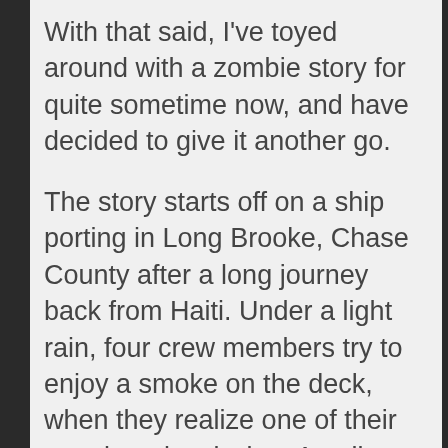With that said, I've toyed around with a zombie story for quite sometime now, and have decided to give it another go.
The story starts off on a ship porting in Long Brooke, Chase County after a long journey back from Haiti. Under a light rain, four crew members try to enjoy a smoke on the deck, when they realize one of their members is missing. An all-out attack occurs when they find him in a cabin - or what he's become.
All but one man is bitten and torn to shreds. Although bitten, he jumps overboard and swims to the shore. So does the missing crew member